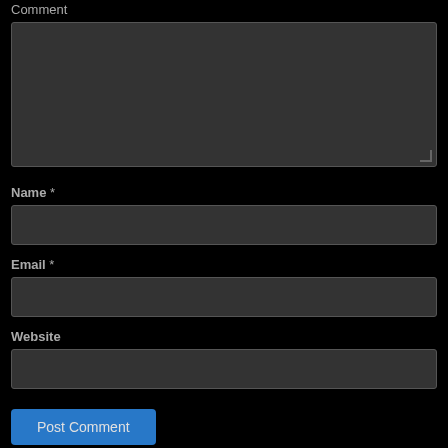Comment
[Figure (screenshot): Dark textarea input field for comment]
Name *
[Figure (screenshot): Dark text input field for name]
Email *
[Figure (screenshot): Dark text input field for email]
Website
[Figure (screenshot): Dark text input field for website]
Post Comment